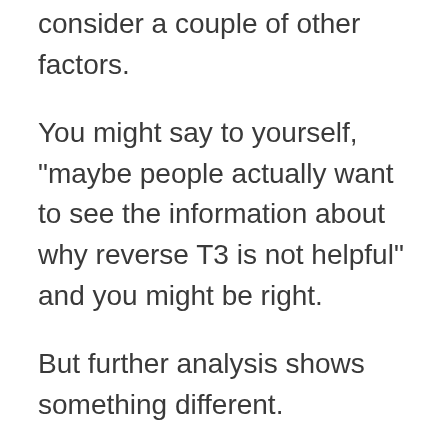consider a couple of other factors.
You might say to yourself, "maybe people actually want to see the information about why reverse T3 is not helpful" and you might be right.
But further analysis shows something different.
If you type in the result "reverse T3" and then scroll down to the bottom of the page you will see something that says "Searches related to reverse T3".